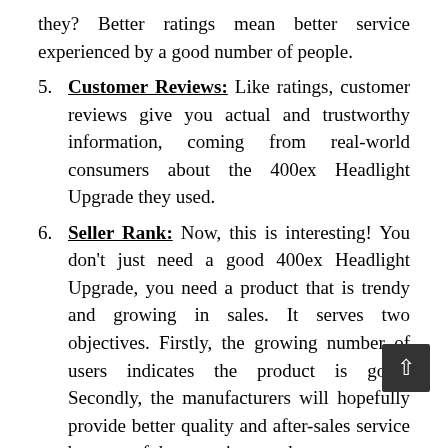they? Better ratings mean better service experienced by a good number of people.
5. Customer Reviews: Like ratings, customer reviews give you actual and trustworthy information, coming from real-world consumers about the 400ex Headlight Upgrade they used.
6. Seller Rank: Now, this is interesting! You don't just need a good 400ex Headlight Upgrade, you need a product that is trendy and growing in sales. It serves two objectives. Firstly, the growing number of users indicates the product is good. Secondly, the manufacturers will hopefully provide better quality and after-sales service because of that growing number.
7. Value For The Money: They say you get what you pay for. Cheap isn't always good.